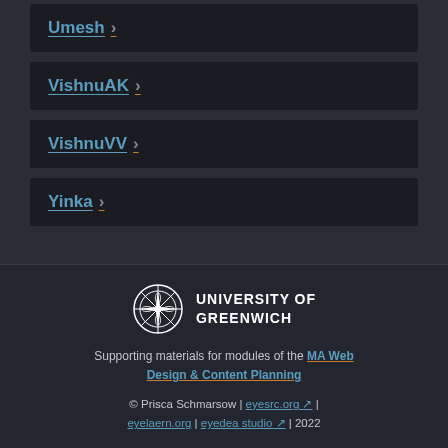Umesh ›
VishnuAK ›
VishnuVV ›
Yinka ›
[Figure (logo): University of Greenwich compass logo with text UNIVERSITY OF GREENWICH]
Supporting materials for modules of the MA Web Design & Content Planning
© Prisca Schmarsow | eyesrc.org ↗ | eyelaern.org | eyedea studio ↗ | 2022